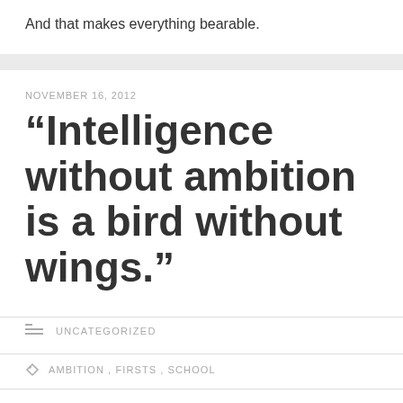And that makes everything bearable.
NOVEMBER 16, 2012
“Intelligence without ambition is a bird without wings.”
UNCATEGORIZED
AMBITION , FIRSTS , SCHOOL